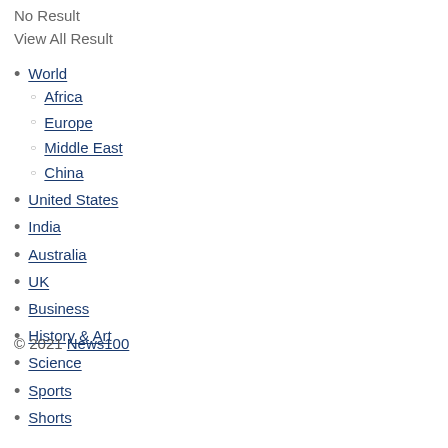No Result
View All Result
World
Africa
Europe
Middle East
China
United States
India
Australia
UK
Business
History & Art
Science
Sports
Shorts
© 2021 News100